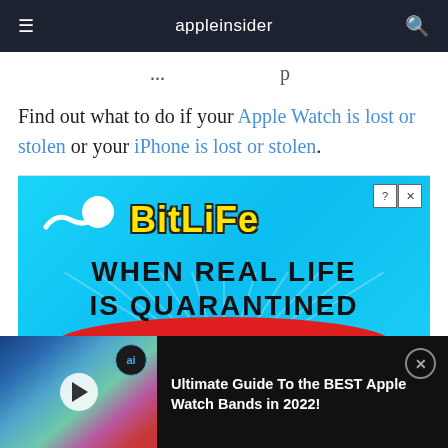appleinsider
Find out what to do if your Apple Watch is lost or stolen or your iPhone is lost or stolen.
[Figure (screenshot): BitLife advertisement banner with cyan/blue background showing sperm icon, yellow BitLife logo, and text 'WHEN REAL LIFE IS QUARANTINED']
[Figure (screenshot): Video overlay bar showing Apple Watch bands video thumbnail with play button, ai badge, close button, and title 'Ultimate Guide To the BEST Apple Watch Bands in 2022!']